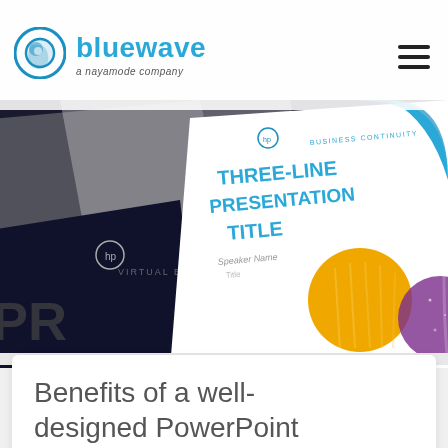bluewave — a nayamode company
[Figure (screenshot): Hero image showing multiple HP-branded PowerPoint presentation slides fanned out, including a white slide reading THREE-LINE PRESENTATION TITLE with Speaker Name and Title placeholders, beside dark slides with VIRTUAL EN text and PR text visible.]
Benefits of a well-designed PowerPoint